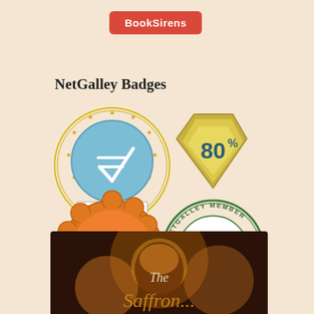[Figure (logo): BookSirens red rounded button/badge with white text]
NetGalley Badges
[Figure (illustration): Four NetGalley badges: Top Reviewer star circle badge (blue), 80% shield badge (gold/teal), 100 Reviews orange flower badge, NetGalley Member Professional Reader green circle badge]
[Figure (photo): Book cover image showing 'The' text with decorative floral/lantern elements on dark background]